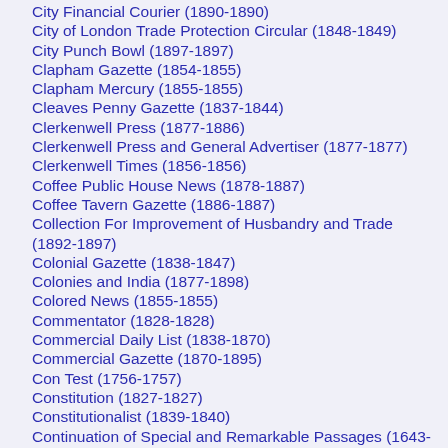City Financial Courier (1890-1890)
City of London Trade Protection Circular (1848-1849)
City Punch Bowl (1897-1897)
Clapham Gazette (1854-1855)
Clapham Mercury (1855-1855)
Cleaves Penny Gazette (1837-1844)
Clerkenwell Press (1877-1886)
Clerkenwell Press and General Advertiser (1877-1877)
Clerkenwell Times (1856-1856)
Coffee Public House News (1878-1887)
Coffee Tavern Gazette (1886-1887)
Collection For Improvement of Husbandry and Trade (1892-1897)
Colonial Gazette (1838-1847)
Colonies and India (1877-1898)
Colored News (1855-1855)
Commentator (1828-1828)
Commercial Daily List (1838-1870)
Commercial Gazette (1870-1895)
Con Test (1756-1757)
Constitution (1827-1827)
Constitutionalist (1839-1840)
Continuation of Special and Remarkable Passages (1643-1682)
Coopers John Bull (1826-1826)
Correspondent (1812-1900)
Country Journal or the Craftsman (1729-1829)
Country Times (1831-1831)